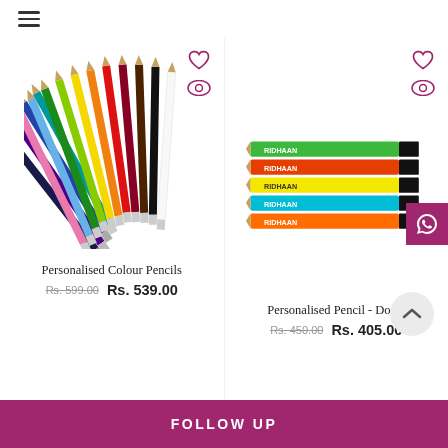Navigation menu (hamburger icon)
[Figure (photo): Bundle of coloured pencils arranged diagonally showing multiple colours including red, orange, yellow, green, blue, purple, pink, black, white]
[Figure (photo): Five personalised Doms pencils labelled RIDHAAN in neon colours: green, orange/red, yellow, blue/teal, orange/red]
Personalised Colour Pencils
Personalised Pencil - Doms
Rs. 599.00  Rs. 539.00
Rs. 450.00  Rs. 405.00
FOLLOW UP